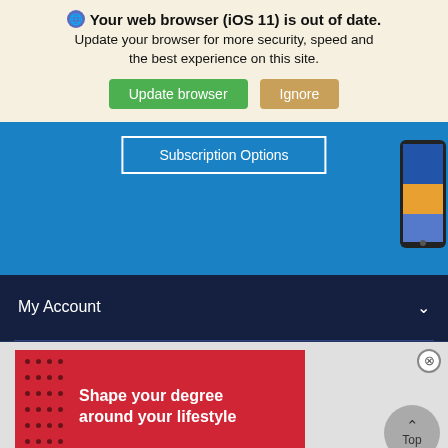🌐 Your web browser (iOS 11) is out of date. Update your browser for more security, speed and the best experience on this site.
Update browser | Ignore
Subscription Options
[Figure (screenshot): Partial phone/mobile device visible at right edge of blue section]
My Account
[Figure (infographic): Red advertisement banner with dot pattern and text: Shape your degree around your lifestyle]
Shape your degree around your lifestyle
Top